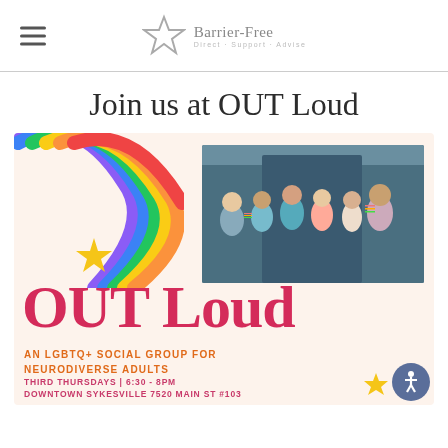Barrier-Free
Join us at OUT Loud
[Figure (infographic): OUT Loud LGBTQ+ social group flyer with rainbow graphics, group photo, large red OUT Loud text, orange subtitle 'AN LGBTQ+ SOCIAL GROUP FOR NEURODIVERSE ADULTS', pink details 'THIRD THURSDAYS | 6:30 - 8PM DOWNTOWN SYKESVILLE 7520 MAIN ST #103']